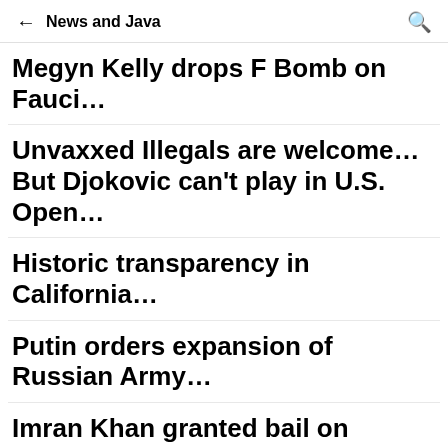← News and Java 🔍
Megyn Kelly drops F Bomb on Fauci…
Unvaxxed Illegals are welcome… But Djokovic can't play in U.S. Open…
Historic transparency in California…
Putin orders expansion of Russian Army…
Imran Khan granted bail on terrorism charges…
U.S. is stealing Syrian oil